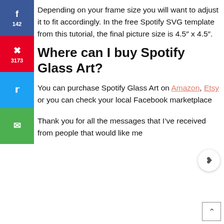Depending on your frame size you will want to adjust it to fit accordingly. In the free Spotify SVG template from this tutorial, the final picture size is 4.5″ x 4.5″.
Where can I buy Spotify Glass Art?
You can purchase Spotify Glass Art on Amazon, Etsy or you can check your local Facebook marketplace
Thank you for all the messages that I’ve received from people that would like me